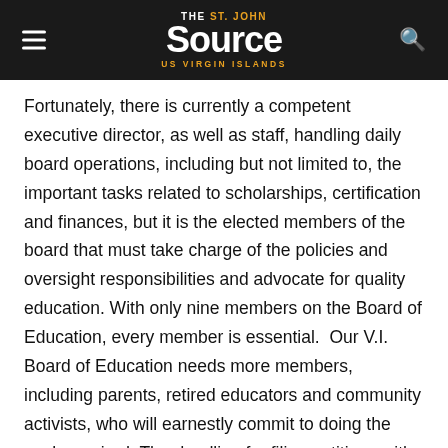THE St. John Source US VIRGIN ISLANDS
Fortunately, there is currently a competent executive director, as well as staff, handling daily board operations, including but not limited to, the important tasks related to scholarships, certification and finances, but it is the elected members of the board that must take charge of the policies and oversight responsibilities and advocate for quality education. With only nine members on the Board of Education, every member is essential.  Our V.I. Board of Education needs more members, including parents, retired educators and community activists, who will earnestly commit to doing the work required. The deadline for filing petitions with the Board of Elections is May 17, 2022.
Whether as a member of the Board of Education, a parent or guardian, educator, volunteer, adopter, government entity or private citizen, we must value education in our community...